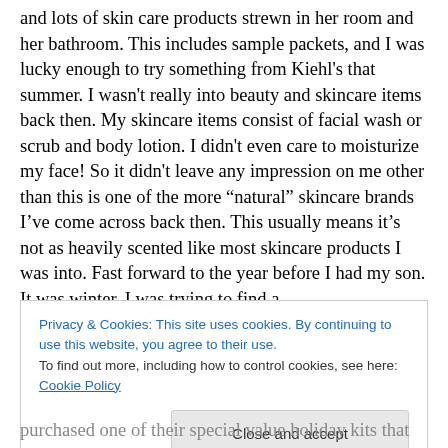and lots of skin care products strewn in her room and her bathroom. This includes sample packets, and I was lucky enough to try something from Kiehl's that summer. I wasn't really into beauty and skincare items back then. My skincare items consist of facial wash or scrub and body lotion. I didn't even care to moisturize my face! So it didn't leave any impression on me other than this is one of the more “natural” skincare brands I've come across back then. This usually means it's not as heavily scented like most skincare products I was into. Fast forward to the year before I had my son. It was winter. I was trying to find a
Privacy & Cookies: This site uses cookies. By continuing to use this website, you agree to their use.
To find out more, including how to control cookies, see here: Cookie Policy
Close and accept
purchased one of their special value holiday kits that